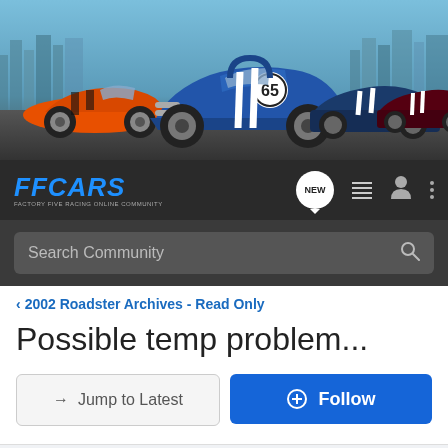[Figure (photo): Banner image showing multiple sports cars including an orange supercar, a blue Cobra roadster with number 65, and dark colored sports cars on a race track with city skyline background]
[Figure (logo): FFCARS logo - Factory Five Racing Online Community, shown in blue italic bold text on dark navbar]
Search Community
2002 Roadster Archives - Read Only
Possible temp problem...
→ Jump to Latest
+ Follow
Not open for further replies.
1 - 6 of 6 Posts